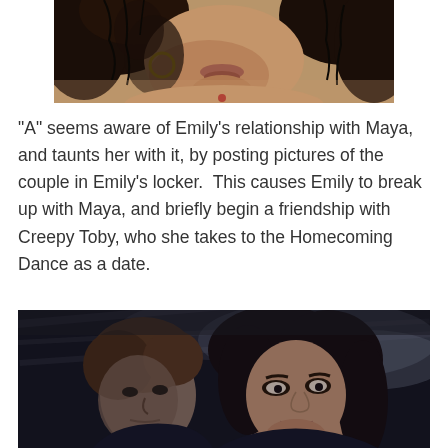[Figure (photo): Close-up photo of a woman with curly dark hair, wearing a hoop earring, face partially shown from nose down]
“A” seems aware of Emily’s relationship with Maya, and taunts her with it, by posting pictures of the couple in Emily’s locker.  This causes Emily to break up with Maya, and briefly begin a friendship with Creepy Toby, who she takes to the Homecoming Dance as a date.
[Figure (photo): Photo of two people, a young man on the left with tousled hair and a young woman on the right with dark hair, both looking forward with worried expressions]